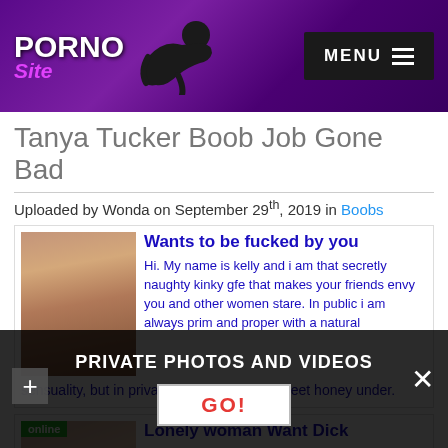PORNO Site — MENU
Tanya Tucker Boob Job Gone Bad
Uploaded by Wonda on September 29th, 2019 in Boobs
[Figure (advertisement): Ad with photo of woman, headline 'Wants to be fucked by you', body text about kelly]
[Figure (advertisement): Second ad with photo of woman with online badge, headline 'Lonely woman Want Dick']
PRIVATE PHOTOS AND VIDEOS
GO!